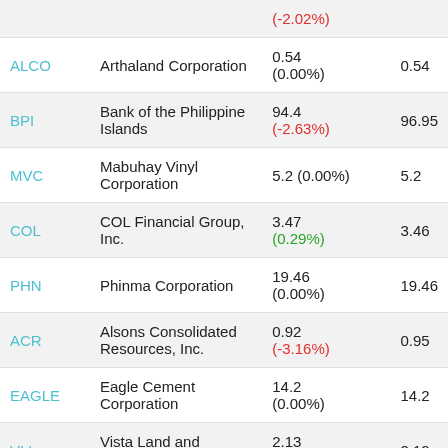| Ticker | Name | Price (Change) | Prev Close |
| --- | --- | --- | --- |
| ALCO | Arthaland Corporation | 0.54 (0.00%) | 0.54 |
| BPI | Bank of the Philippine Islands | 94.4 (-2.63%) | 96.95 |
| MVC | Mabuhay Vinyl Corporation | 5.2 (0.00%) | 5.2 |
| COL | COL Financial Group, Inc. | 3.47 (0.29%) | 3.46 |
| PHN | Phinma Corporation | 19.46 (0.00%) | 19.46 |
| ACR | Alsons Consolidated Resources, Inc. | 0.92 (-3.16%) | 0.95 |
| EAGLE | Eagle Cement Corporation | 14.2 (0.00%) | 14.2 |
| VLL | Vista Land and Lifescapes, Inc. | 2.13 (0.47%) | 2.12 |